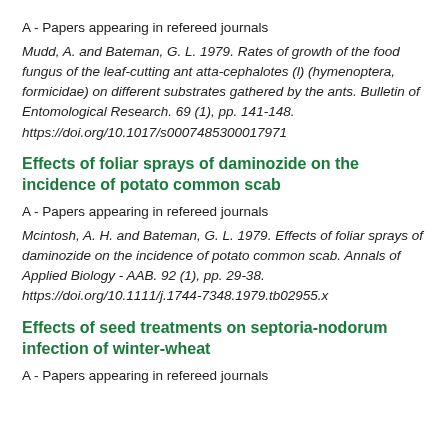A - Papers appearing in refereed journals
Mudd, A. and Bateman, G. L. 1979. Rates of growth of the food fungus of the leaf-cutting ant atta-cephalotes (l) (hymenoptera, formicidae) on different substrates gathered by the ants. Bulletin of Entomological Research. 69 (1), pp. 141-148. https://doi.org/10.1017/s0007485300017971
Effects of foliar sprays of daminozide on the incidence of potato common scab
A - Papers appearing in refereed journals
Mcintosh, A. H. and Bateman, G. L. 1979. Effects of foliar sprays of daminozide on the incidence of potato common scab. Annals of Applied Biology - AAB. 92 (1), pp. 29-38. https://doi.org/10.1111/j.1744-7348.1979.tb02955.x
Effects of seed treatments on septoria-nodorum infection of winter-wheat
A - Papers appearing in refereed journals